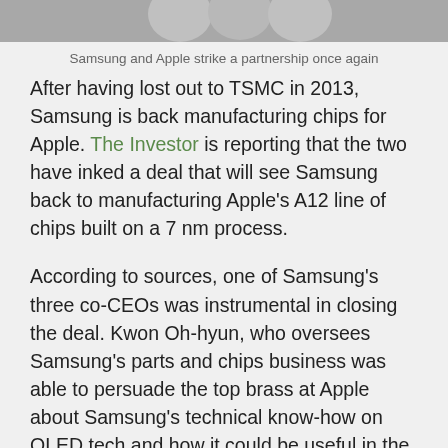[Figure (photo): Partial image strip showing Samsung and Apple logos at top of page]
Samsung and Apple strike a partnership once again
After having lost out to TSMC in 2013, Samsung is back manufacturing chips for Apple. The Investor is reporting that the two have inked a deal that will see Samsung back to manufacturing Apple’s A12 line of chips built on a 7 nm process.
According to sources, one of Samsung’s three co-CEOs was instrumental in closing the deal. Kwon Oh-hyun, who oversees Samsung’s parts and chips business was able to persuade the top brass at Apple about Samsung’s technical know-how on OLED tech and how it could be useful in the chip-making process. With Apple going for OLED panels with its upcoming iPhone 8, handling the new kind